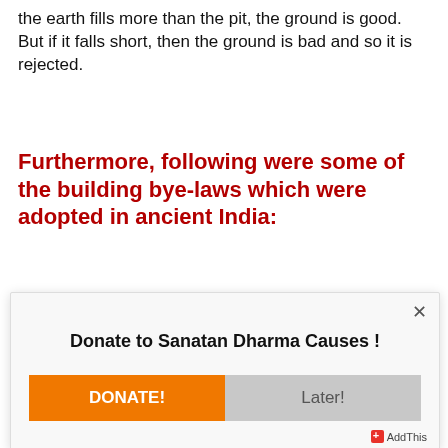the earth fills more than the pit, the ground is good. But if it falls short, then the ground is bad and so it is rejected.
Furthermore, following were some of the building bye-laws which were adopted in ancient India:
[Figure (screenshot): A modal dialog popup with title 'Donate to Sanatan Dharma Causes !' and two buttons: 'DONATE!' (orange) and 'Later!' (gray), with an X close button and AddThis branding in the bottom right.]